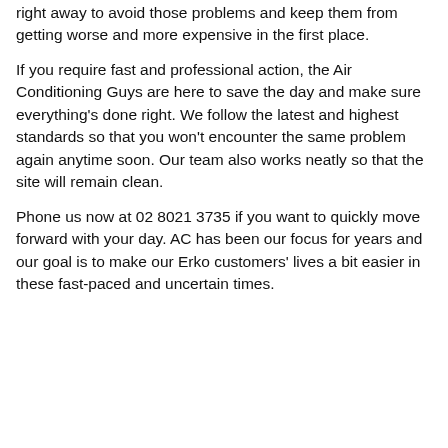right away to avoid those problems and keep them from getting worse and more expensive in the first place.
If you require fast and professional action, the Air Conditioning Guys are here to save the day and make sure everything's done right. We follow the latest and highest standards so that you won't encounter the same problem again anytime soon. Our team also works neatly so that the site will remain clean.
Phone us now at 02 8021 3735 if you want to quickly move forward with your day. AC has been our focus for years and our goal is to make our Erko customers' lives a bit easier in these fast-paced and uncertain times.